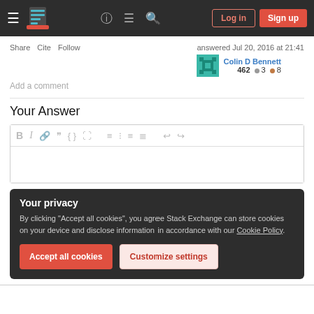Stack Exchange navigation header with Log in and Sign up buttons
Share  Cite  Follow
answered Jul 20, 2016 at 21:41
Colin D Bennett
462 ● 3 ● 8
Add a comment
Your Answer
[Figure (screenshot): Text editor toolbar with formatting icons: Bold, Italic, Link, Blockquote, Code, Image, Ordered list, Unordered list, Align left, Align justify, Undo, Redo]
Your privacy
By clicking "Accept all cookies", you agree Stack Exchange can store cookies on your device and disclose information in accordance with our Cookie Policy.
Accept all cookies   Customize settings